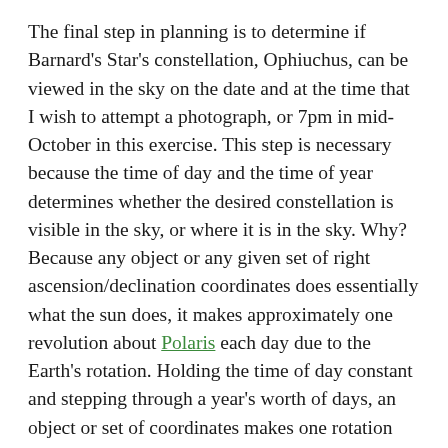The final step in planning is to determine if Barnard's Star's constellation, Ophiuchus, can be viewed in the sky on the date and at the time that I wish to attempt a photograph, or 7pm in mid-October in this exercise. This step is necessary because the time of day and the time of year determines whether the desired constellation is visible in the sky, or where it is in the sky. Why? Because any object or any given set of right ascension/declination coordinates does essentially what the sun does, it makes approximately one revolution about Polaris each day due to the Earth's rotation. Holding the time of day constant and stepping through a year's worth of days, an object or set of coordinates makes one rotation about Polaris in a year due to the Earth's orbit about the Sun.
To illustrate the annual rotation, lets follow Ophiuchus over the course of a year. In October it is visible in the western sky in the evening after sunset, and due to the Earth's daily rotation about its axis, it too sets below the horizon about four